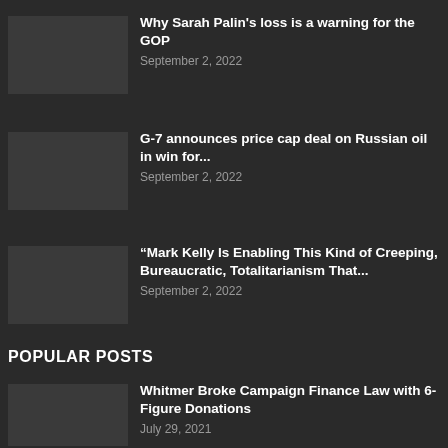Why Sarah Palin's loss is a warning for the GOP
September 2, 2022
G-7 announces price cap deal on Russian oil in win for...
September 2, 2022
“Mark Kelly Is Enabling This Kind of Creeping, Bureaucratic, Totalitarianism That...
September 2, 2022
POPULAR POSTS
Whitmer Broke Campaign Finance Law with 6-Figure Donations
July 29, 2021